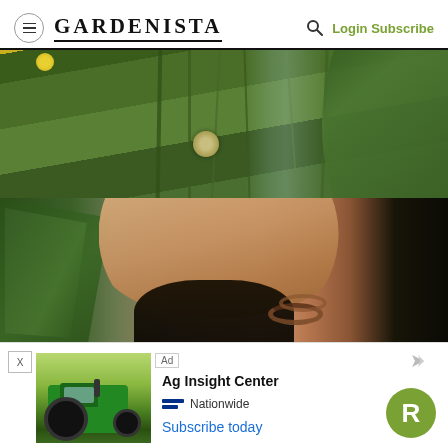GARDENISTA — Login Subscribe
[Figure (photo): Close-up of garden plants with long green stems and a globe-shaped seed head (allium or similar), with large dark green leaves in the background and a yellow flower visible at top]
[Figure (photo): Person's hands holding dark soil/compost over a metal bowl, wearing wooden bead bracelets, with green fern-like leaves on the left]
[Figure (photo): Advertisement showing a John Deere green tractor in a field — Ad for Ag Insight Center by Nationwide with 'Subscribe today' link]